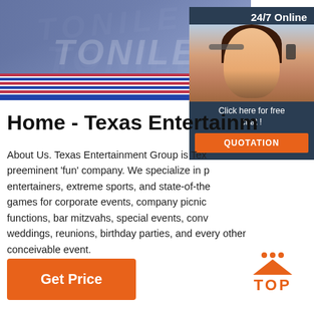[Figure (photo): Hero image of inflatable bounce house/obstacle equipment with patriotic red, white and blue striped pattern and TONILE watermark text]
[Figure (photo): Chat widget showing woman with headset, 24/7 Online label, Click here for free chat text, and QUOTATION orange button]
Home - Texas Entertainm
About Us. Texas Entertainment Group is Tex preeminent 'fun' company. We specialize in p entertainers, extreme sports, and state-of-the games for corporate events, company picnic functions, bar mitzvahs, special events, conv weddings, reunions, birthday parties, and every other conceivable event.
[Figure (other): TOP button with orange triangle/dots logo and TOP text in orange]
Get Price